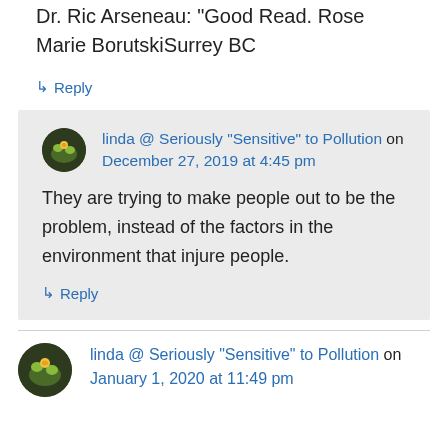Dr. Ric Arseneau: "Good Read. Rose Marie BorutskiSurrey BC
↳ Reply
linda @ Seriously "Sensitive" to Pollution on December 27, 2019 at 4:45 pm
They are trying to make people out to be the problem, instead of the factors in the environment that injure people.
↳ Reply
linda @ Seriously "Sensitive" to Pollution on January 1, 2020 at 11:49 pm